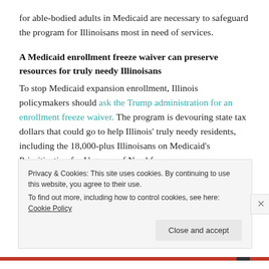for able-bodied adults in Medicaid are necessary to safeguard the program for Illinoisans most in need of services.
A Medicaid enrollment freeze waiver can preserve resources for truly needy Illinoisans
To stop Medicaid expansion enrollment, Illinois policymakers should ask the Trump administration for an enrollment freeze waiver. The program is devouring state tax dollars that could go to help Illinois' truly needy residents, including the 18,000-plus Illinoisans on Medicaid's Prioritization for Urgency of Need for
Privacy & Cookies: This site uses cookies. By continuing to use this website, you agree to their use.
To find out more, including how to control cookies, see here: Cookie Policy
Close and accept